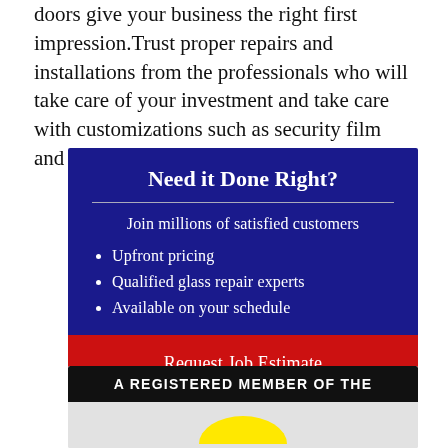doors give your business the right first impression. Trust proper repairs and installations from the professionals who will take care of your investment and take care with customizations such as security film and logos.
[Figure (infographic): Blue promotional box with title 'Need it Done Right?', subtitle 'Join millions of satisfied customers', three bullet points (Upfront pricing, Qualified glass repair experts, Available on your schedule), and a red 'Request Job Estimate' button.]
[Figure (infographic): Gray banner at bottom with black bar reading 'A REGISTERED MEMBER OF THE' and a yellow arc/logo below it.]